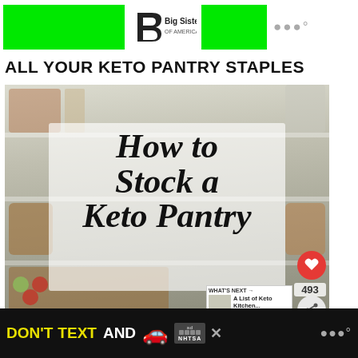[Figure (screenshot): Top advertisement banner with green blocks and Big Brothers Big Sisters of America logo]
ALL YOUR KETO PANTRY STAPLES
[Figure (photo): Photo of a well-organized pantry with shelves of jars, baskets, and fresh produce, overlaid with text reading 'How to Stock a Keto Pantry'. Has heart/save button showing and share count of 493. Bottom right shows 'WHAT'S NEXT → A List of Keto Kitchen...' thumbnail.]
Categories include:
[Figure (screenshot): Bottom advertisement banner on dark background: 'DON'T TEXT AND' with car emoji, NHTSA logo, close button]